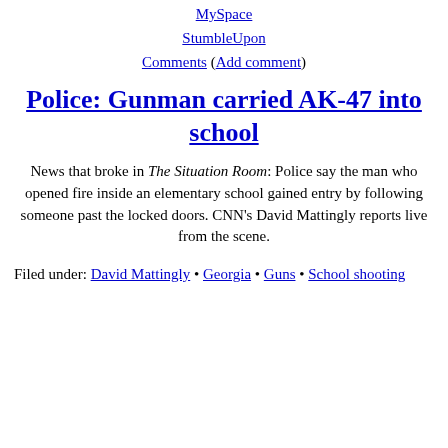MySpace
StumbleUpon
Comments (Add comment)
Police: Gunman carried AK-47 into school
News that broke in The Situation Room: Police say the man who opened fire inside an elementary school gained entry by following someone past the locked doors. CNN's David Mattingly reports live from the scene.
Filed under: David Mattingly • Georgia • Guns • School shooting